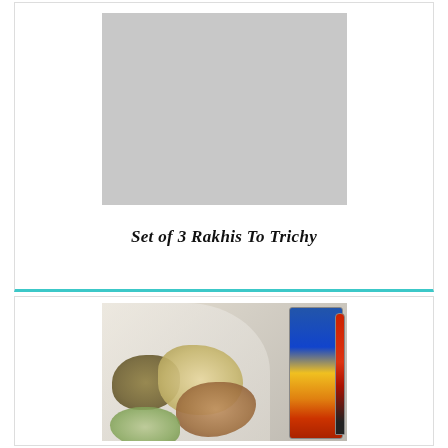[Figure (photo): Placeholder gray image area for Set of 3 Rakhis To Trichy product]
Set of 3 Rakhis To Trichy
[Figure (photo): Photo of mixed dry fruits (raisins, cashews, almonds, pistachios) in a bowl with a rakhi pen/thread set in colorful packaging on the right]